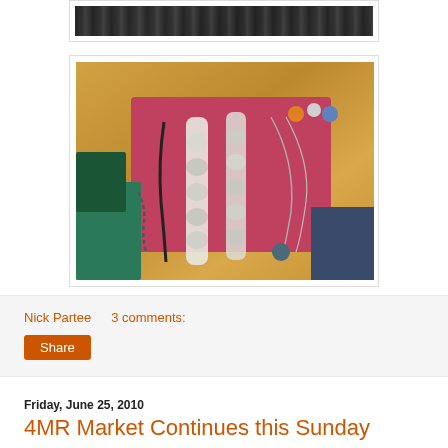[Figure (photo): Partial view of a top image, dark/feathered pattern, cropped at the top of the page]
[Figure (photo): Photo of crochet/knitted accessories (belts, necklaces) laid out on a pink/red t-shirt on a gold glittery surface]
Nick Partee    3 comments:
Share
Friday, June 25, 2010
4MR Market Continues this Sunday